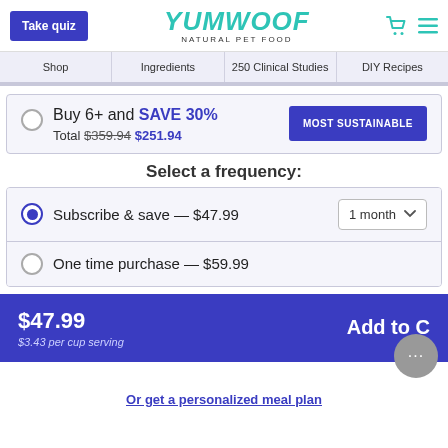Take quiz | YUMWOOF NATURAL PET FOOD
Shop | Ingredients | 250 Clinical Studies | DIY Recipes
Buy 6+ and SAVE 30% Total $359.94 $251.94
MOST SUSTAINABLE
Select a frequency:
Subscribe & save — $47.99 | 1 month
One time purchase — $59.99
$47.99 $3.43 per cup serving | Add to C
Or get a personalized meal plan